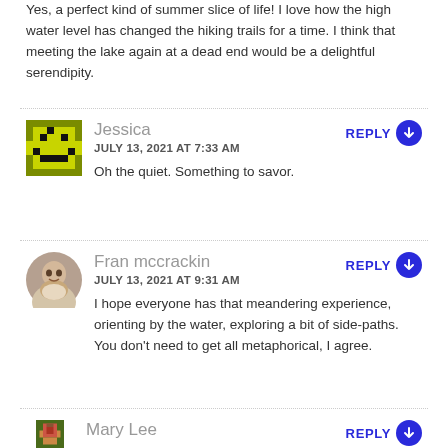Yes, a perfect kind of summer slice of life! I love how the high water level has changed the hiking trails for a time. I think that meeting the lake again at a dead end would be a delightful serendipity.
Jessica
JULY 13, 2021 AT 7:33 AM
Oh the quiet. Something to savor.
Fran mccrackin
JULY 13, 2021 AT 9:31 AM
I hope everyone has that meandering experience, orienting by the water, exploring a bit of side-paths. You don't need to get all metaphorical, I agree.
Mary Lee